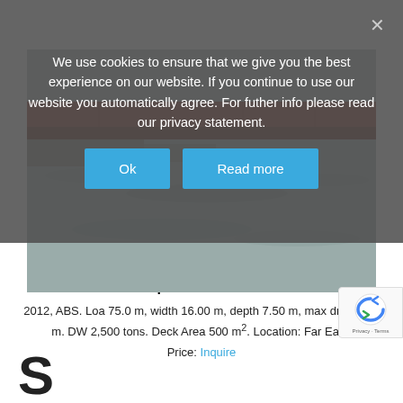We use cookies to ensure that we give you the best experience on our website. If you continue to use our website you automatically agree. For futher info please read our privacy statement.
[Figure (photo): Cookie consent overlay with Ok and Read more buttons over a ship photo showing hull and water]
[Figure (photo): Partial photo of a ship hull and water in the background]
110 tbp DP-2 FiFi-1 AHTS
2012, ABS. Loa 75.0 m, width 16.00 m, depth 7.50 m, max draft 6.10 m. DW 2,500 tons. Deck Area 500 m². Location: Far East.
Price: Inquire